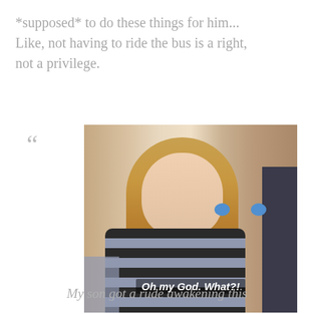*supposed* to do these things for him... Like, not having to ride the bus is a right, not a privilege.
[Figure (photo): Screenshot from the TV show Friends showing Rachel Green (Jennifer Aniston) wearing a black and grey striped shirt, looking shocked with wide eyes. A subtitle overlay reads 'Oh my God. What?!']
My son got a rude awakening this